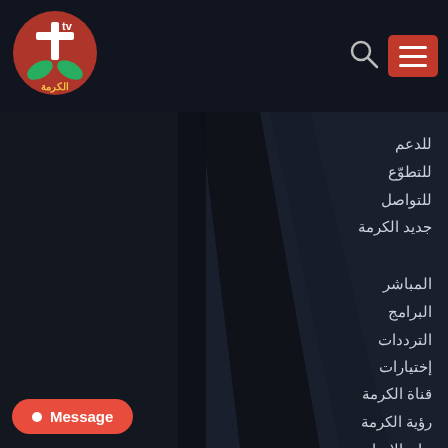[Figure (logo): Al-Karma TV logo with cross and green leaves]
للدعم
للتطوّع
للتواصل
جديد الكرمة
المباشر
البرامج
الترددات
إختيارات
قناة الكرمة
رؤية الكرمة
بيان الإيمان
Message